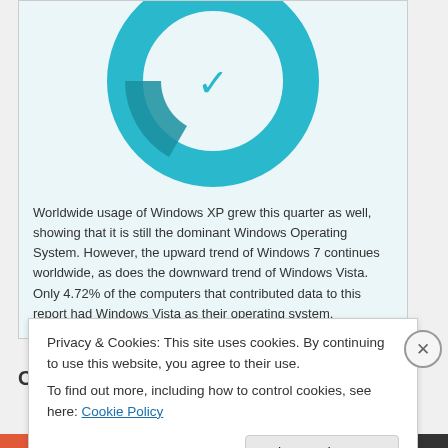[Figure (donut-chart): Partial donut chart in teal/cyan colors showing Windows OS usage share, cropped at top]
Worldwide usage of Windows XP grew this quarter as well, showing that it is still the dominant Windows Operating System. However, the upward trend of Windows 7 continues worldwide, as does the downward trend of Windows Vista. Only 4.72% of the computers that contributed data to this report had Windows Vista as their operating system.
Combining GROWT...
Privacy & Cookies: This site uses cookies. By continuing to use this website, you agree to their use.
To find out more, including how to control cookies, see here: Cookie Policy